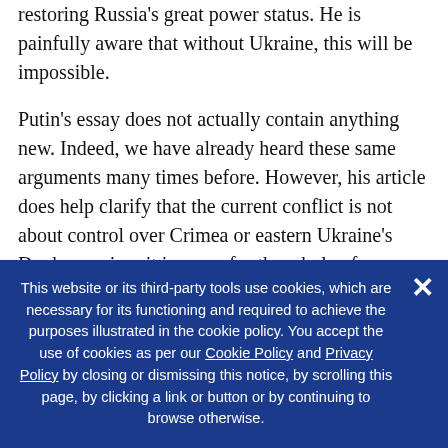restoring Russia's great power status. He is painfully aware that without Ukraine, this will be impossible.
Putin's essay does not actually contain anything new. Indeed, we have already heard these same arguments many times before. However, his article does help clarify that the current conflict is not about control over Crimea or eastern Ukraine's Donbas region; it is a war for the whole of Ukraine. Putin makes it perfectly clear that his goal is to keep Ukraine firmly within the Russian sphere of influence and to prevent Ukraine's Euro-Atlantic integration.
This website or its third-party tools use cookies, which are necessary for its functioning and required to achieve the purposes illustrated in the cookie policy. You accept the use of cookies as per our Cookie Policy and Privacy Policy by closing or dismissing this notice, by scrolling this page, by clicking a link or button or by continuing to browse otherwise.